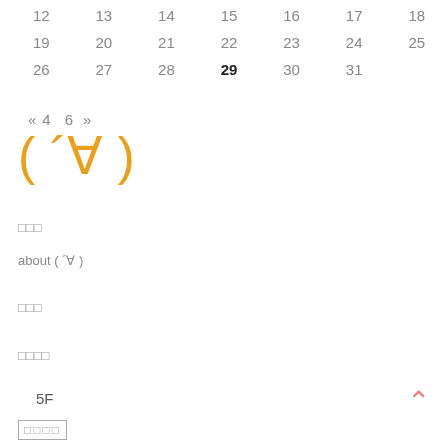| 12 | 13 | 14 | 15 | 16 | 17 | 18 |
| 19 | 20 | 21 | 22 | 23 | 24 | 25 |
| 26 | 27 | 28 | 29 | 30 | 31 |  |
« 4  6  »
( ´∀ )
□□□
about ( ´∀ )
□□□
□□□□
5F
[Figure (other): Up arrow icon in salmon/pink color]
[Figure (other): Small box icon with Japanese characters]